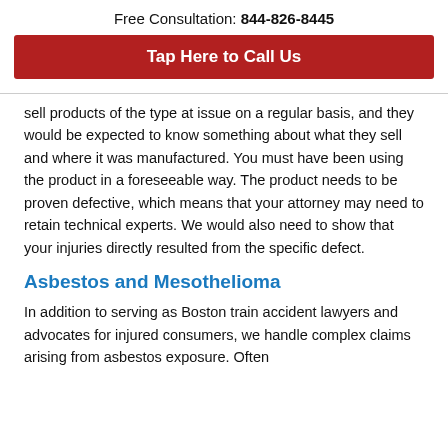Free Consultation: 844-826-8445
Tap Here to Call Us
sell products of the type at issue on a regular basis, and they would be expected to know something about what they sell and where it was manufactured. You must have been using the product in a foreseeable way. The product needs to be proven defective, which means that your attorney may need to retain technical experts. We would also need to show that your injuries directly resulted from the specific defect.
Asbestos and Mesothelioma
In addition to serving as Boston train accident lawyers and advocates for injured consumers, we handle complex claims arising from asbestos exposure. Often